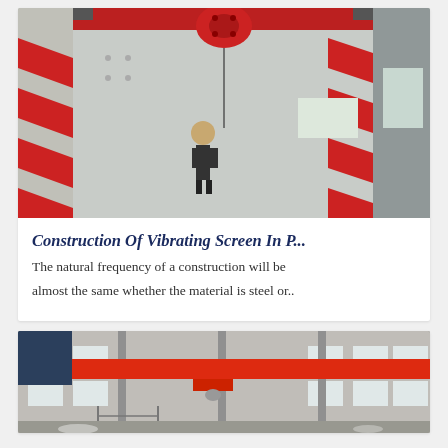[Figure (photo): Industrial vibrating screen equipment with red zigzag components and a worker in a large factory/warehouse setting]
Construction Of Vibrating Screen In P...
The natural frequency of a construction will be almost the same whether the material is steel or..
[Figure (photo): Industrial warehouse interior with a red overhead crane/bridge crane spanning a large concrete building]